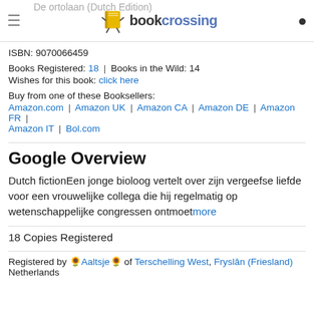BookCrossing
De ortolaan (Dutch Edition)
ISBN: 9070066459
Books Registered: 18 | Books in the Wild: 14
Wishes for this book: click here
Buy from one of these Booksellers:
Amazon.com | Amazon UK | Amazon CA | Amazon DE | Amazon FR | Amazon IT | Bol.com
Google Overview
Dutch fictionEen jonge bioloog vertelt over zijn vergeefse liefde voor een vrouwelijke collega die hij regelmatig op wetenschappelijke congressen ontmoet more
18 Copies Registered
Registered by 🌻 Aaltsje 🌻 of Terschelling West, Fryslân (Friesland) Netherlands